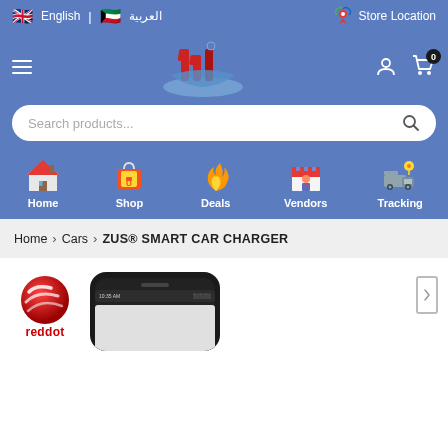English | العربية | Store Location
[Figure (logo): Marketplace website logo with stylized M letters in red and blue]
Search products...
Home
Shop
Deals
Vendors
Tracking
Home > Cars > ZUS® SMART CAR CHARGER
[Figure (logo): Red Dot award logo - a red sphere with white curved lines]
[Figure (photo): Smartphone showing an app interface with dark frame partially visible]